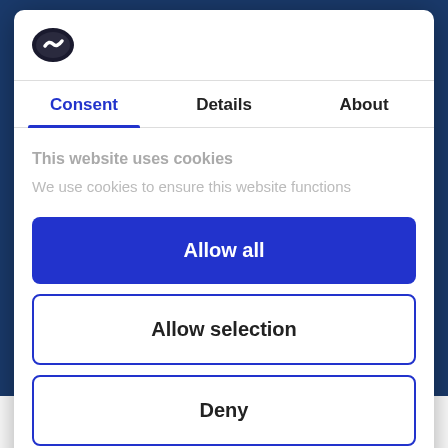[Figure (logo): Cookiebot logo — stylized dark oval with white checkmark-like shape inside]
Consent | Details | About
This website uses cookies
We use cookies to ensure this website functions
Allow all
Allow selection
Deny
Powered by Cookiebot by Usercentrics
events continues with a tree